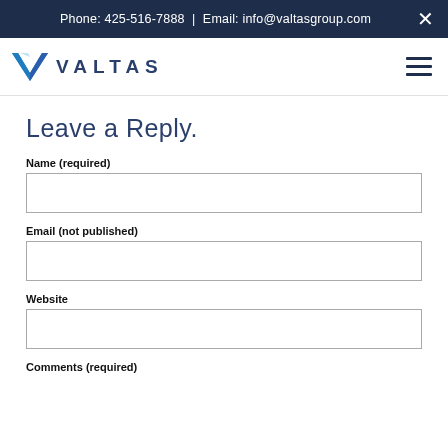Phone: 425-516-7888  |  Email: info@valtasgroup.com
[Figure (logo): Valtas group logo with blue V chevron icon and VALTAS text]
Leave a Reply.
Name (required)
Email (not published)
Website
Comments (required)